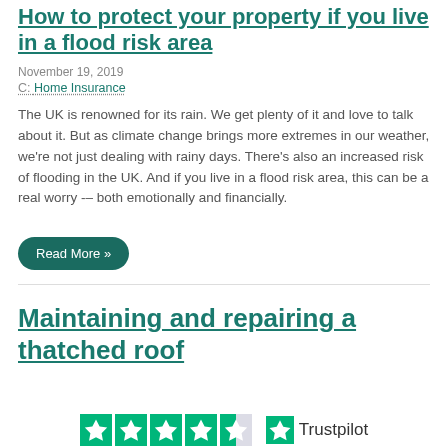How to protect your property if you live in a flood risk area
November 19, 2019
C: Home Insurance
The UK is renowned for its rain. We get plenty of it and love to talk about it. But as climate change brings more extremes in our weather, we're not just dealing with rainy days. There's also an increased risk of flooding in the UK. And if you live in a flood risk area, this can be a real worry -– both emotionally and financially.
Read More »
Maintaining and repairing a thatched roof
[Figure (logo): Trustpilot rating widget showing 4.5 stars and Trustpilot logo]